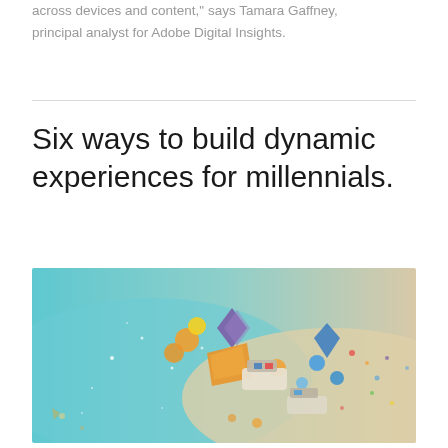across devices and content," says Tamara Gaffney, principal analyst for Adobe Digital Insights.
Six ways to build dynamic experiences for millennials.
[Figure (photo): Aerial artistic photo of colorful geometric shapes, origami-like objects, balloons, and miniature toy vehicles scattered on a light sandy surface with a turquoise blue water area, creating a festive playful scene viewed from above.]